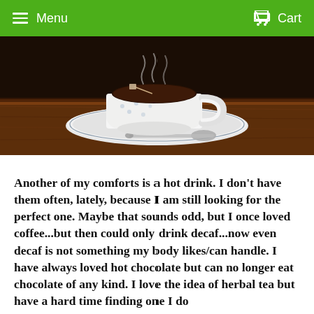Menu  Cart
[Figure (photo): A white ceramic teacup with a tea bag on a decorative saucer with a spoon, placed on a wooden table with dark background.]
Another of my comforts is a hot drink. I don't have them often, lately, because I am still looking for the perfect one. Maybe that sounds odd, but I once loved coffee...but then could only drink decaf...now even decaf is not something my body likes/can handle. I have always loved hot chocolate but can no longer eat chocolate of any kind. I love the idea of herbal tea but have a hard time finding one I do